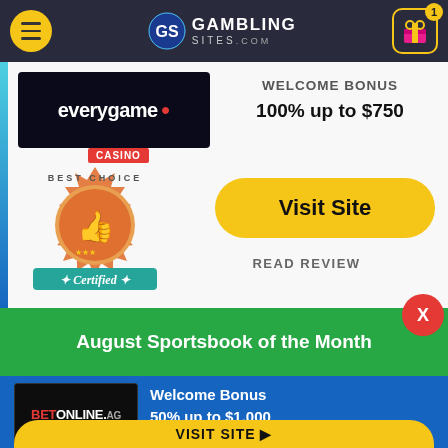GambingSites.com header with menu, logo, and gift icon
[Figure (logo): Everygame Casino logo - white text on dark background]
WELCOME BONUS
100% up to $750
[Figure (illustration): Best Choice Certified badge with thumbs up]
Visit Site
READ REVIEW
August Sportsbook of the Month
[Figure (logo): BetOnline.ag logo - white and red text on black background]
Welcome Bonus
50% up to $1,000
VISIT SITE ▶